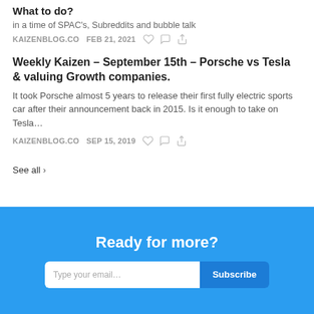What to do?
in a time of SPAC's, Subreddits and bubble talk
KAIZENBLOG.CO   FEB 21, 2021
Weekly Kaizen – September 15th – Porsche vs Tesla & valuing Growth companies.
It took Porsche almost 5 years to release their first fully electric sports car after their announcement back in 2015. Is it enough to take on Tesla…
KAIZENBLOG.CO   SEP 15, 2019
See all ›
Ready for more?
Type your email…   Subscribe